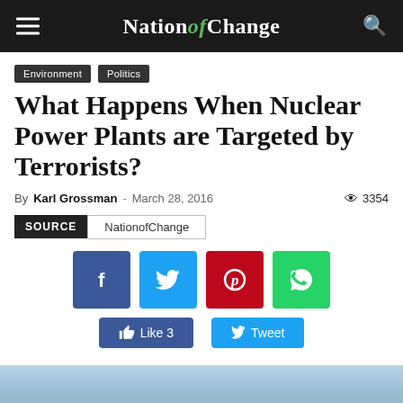NationofChange
Environment
Politics
What Happens When Nuclear Power Plants are Targeted by Terrorists?
By Karl Grossman - March 28, 2016  3354
SOURCE  NationofChange
[Figure (screenshot): Social share buttons: Facebook, Twitter, Pinterest, WhatsApp, Like 3, Tweet]
[Figure (photo): Bottom partial image, appears to be a nuclear power plant or outdoor scene]